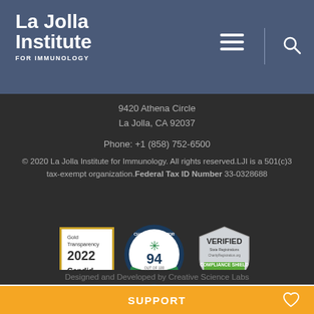La Jolla Institute FOR IMMUNOLOGY
9420 Athena Circle
La Jolla, CA 92037

Phone: +1 (858) 752-6500
© 2020 La Jolla Institute for Immunology. All rights reserved.LJI is a 501(c)3 tax-exempt organization. Federal Tax ID Number 33-0328688
[Figure (logo): Gold Transparency 2022 Candid badge with gold border]
[Figure (logo): Charity Navigator 94 out of 100 Give With Confidence badge]
[Figure (logo): Verified State Registrations Compliance Shield badge with 5 stars]
Designed and Developed by Creative Science Labs
SUPPORT